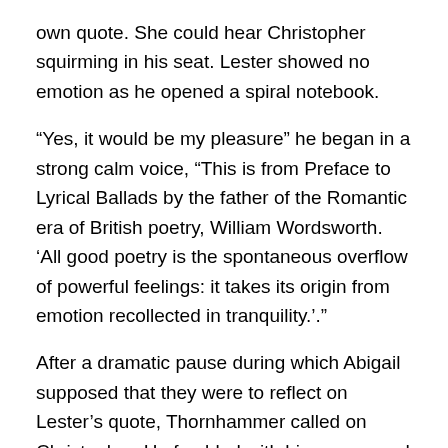own quote. She could hear Christopher squirming in his seat. Lester showed no emotion as he opened a spiral notebook.
“Yes, it would be my pleasure” he began in a strong calm voice, “This is from Preface to Lyrical Ballads by the father of the Romantic era of British poetry, William Wordsworth. ‘All good poetry is the spontaneous overflow of powerful feelings: it takes its origin from emotion recollected in tranquility.’.”
After a dramatic pause during which Abigail supposed that they were to reflect on Lester’s quote, Thornhammer called on Christopher. He fumbled with his papers and coughed before proceeding in a faint voice.
“A p-poet’s work,” he said before coughing again, “is to n-